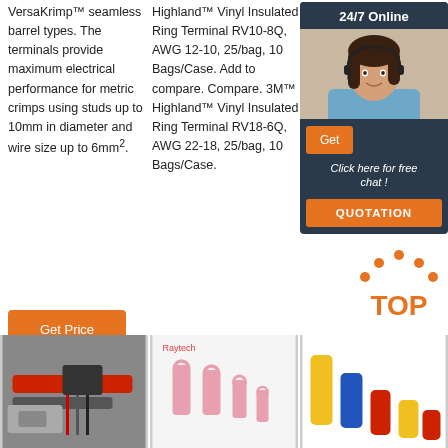VersaKrimp™ seamless barrel types. The terminals provide maximum electrical performance for metric crimps using studs up to 10mm in diameter and wire size up to 6mm².
Get Price
Highland™ Vinyl Insulated Ring Terminal RV10-8Q, AWG 12-10, 25/bag, 10 Bags/Case. Add to compare. Compare. 3M™ Highland™ Vinyl Insulated Ring Terminal RV18-6Q, AWG 22-18, 25/bag, 10 Bags/Case.
Get Price
and connectors are clearly marked with size. Terminals have 'V' groove ... to …
[Figure (photo): Chat widget with woman wearing headset and '24/7 Online' header, 'Click here for free chat!' text, Get button, and QUOTATION button]
[Figure (photo): Wiring harness with red cable and connector terminals]
[Figure (photo): Raytech branded ring terminals, pink insulated]
[Figure (logo): TOP logo with orange dots forming an arc above the word TOP in orange text]